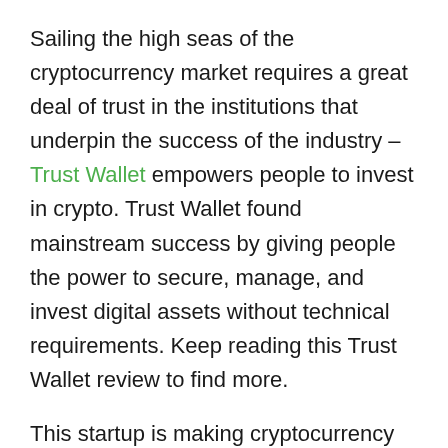Sailing the high seas of the cryptocurrency market requires a great deal of trust in the institutions that underpin the success of the industry – Trust Wallet empowers people to invest in crypto. Trust Wallet found mainstream success by giving people the power to secure, manage, and invest digital assets without technical requirements. Keep reading this Trust Wallet review to find more.
This startup is making cryptocurrency ownership simple, faster – and most importantly, more accessible to everyone. In this Trust Wallet review, let's uncover how this